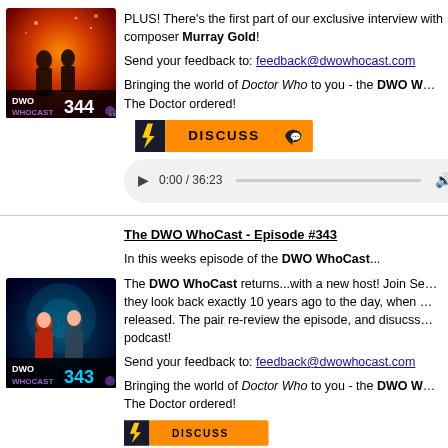[Figure (illustration): DWO WhoCast Episode 344 podcast cover art showing two silhouettes against orange fire background with '344' and 'DWO WHOCAST' text]
PLUS! There's the first part of our exclusive interview with composer Murray Gold!

Send your feedback to: feedback@dwowhocast.com

Bringing the world of Doctor Who to you - the DWO WhoCast. Just what The Doctor ordered!
[Figure (screenshot): Discuss button with lightning bolt icon and speech bubble]
[Figure (screenshot): Audio player showing 0:00 / 36:23 with play button, progress bar, volume and menu icons]
The DWO WhoCast - Episode #343
In this weeks episode of the DWO WhoCast...
The DWO WhoCast returns...with a new host! Join Se.. they look back exactly 10 years ago to the day, when ... released. The pair re-review the episode, and disucss.. podcast!
Send your feedback to: feedback@dwowhocast.com
Bringing the world of Doctor Who to you - the DWO WhoCast. Just what The Doctor ordered!
[Figure (illustration): DWO WhoCast Episode 343 podcast cover art showing two characters against blue/teal background with '343' and 'DWO WHOCAST' text]